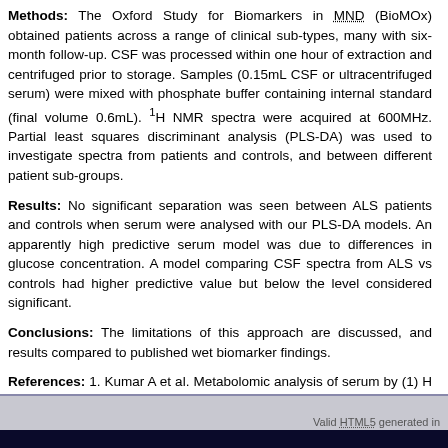Methods: The Oxford Study for Biomarkers in MND (BioMOx) obtained patients across a range of clinical sub-types, many with six-month follow-up. CSF was processed within one hour of extraction and centrifuged prior to storage. Samples (0.15mL CSF or ultracentrifuged serum) were mixed with phosphate buffer containing internal standard (final volume 0.6mL). 1H NMR spectra were acquired at 600MHz. Partial least squares discriminant analysis (PLS-DA) was used to investigate spectra from patients and controls, and between different patient sub-groups.
Results: No significant separation was seen between ALS patients and controls when serum were analysed with our PLS-DA models. An apparently high predictive serum model was due to differences in glucose concentration. A model comparing CSF spectra from ALS vs controls had higher predictive value but below the level considered significant.
Conclusions: The limitations of this approach are discussed, and results compared to published wet biomarker findings.
References: 1. Kumar A et al. Metabolomic analysis of serum by (1) H NMR. Annals of clinical chemistry 2010:411;563-7.
2. Blasco H et al. 1H-NMR-based metabolomic profiling of CSF in early ALS.
Valid HTML5 generated in